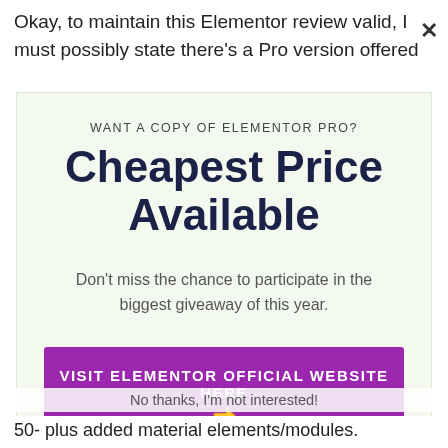Okay, to maintain this Elementor review valid, I must possibly state there's a Pro version offered
[Figure (screenshot): Modal popup with light green background. Header: 'WANT A COPY OF ELEMENTOR PRO?' in small caps. Large bold dark blue heading: 'Cheapest Price Available'. Body text: 'Don't miss the chance to participate in the biggest giveaway of this year.' Purple CTA button: 'VISIT ELEMENTOR OFFICIAL WEBSITE HERE' with pointing hand emoji.]
No thanks, I'm not interested!
50- plus added material elements/modules.